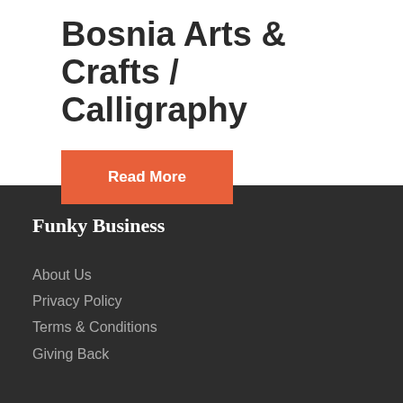Bosnia Arts & Crafts / Calligraphy
Read More
Funky Business
About Us
Privacy Policy
Terms & Conditions
Giving Back